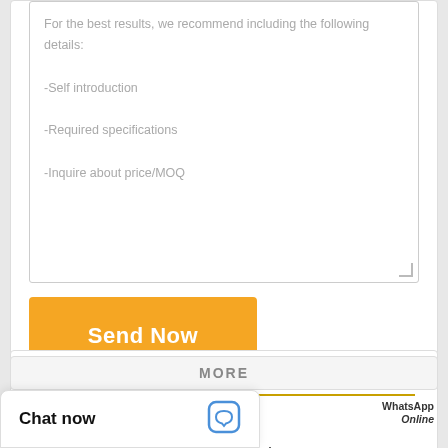For the best results, we recommend including the following details:
-Self introduction
-Required specifications
-Inquire about price/MOQ
Send Now
[Figure (logo): WhatsApp green circle logo with phone icon]
WhatsApp Online
CABIN AIR PANEL FILTERS CATEGORIES
Air Breather Filters
Air Cleaning System Elements
MORE
Chat now